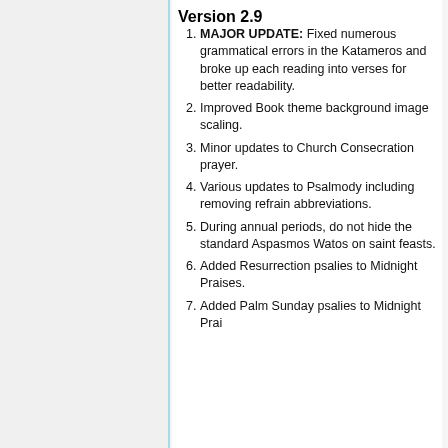Version 2.9
MAJOR UPDATE: Fixed numerous grammatical errors in the Katameros and broke up each reading into verses for better readability.
Improved Book theme background image scaling.
Minor updates to Church Consecration prayer.
Various updates to Psalmody including removing refrain abbreviations.
During annual periods, do not hide the standard Aspasmos Watos on saint feasts.
Added Resurrection psalies to Midnight Praises.
Added Palm Sunday psalies to Midnight Praises.